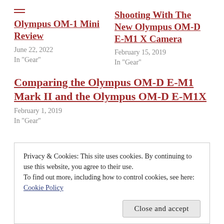Olympus OM-1 Mini Review
June 22, 2022
In "Gear"
Shooting With The New Olympus OM-D E-M1 X Camera
February 15, 2019
In "Gear"
Comparing the Olympus OM-D E-M1 Mark II and the Olympus OM-D E-M1X
February 1, 2019
In "Gear"
Privacy & Cookies: This site uses cookies. By continuing to use this website, you agree to their use.
To find out more, including how to control cookies, see here: Cookie Policy
Close and accept